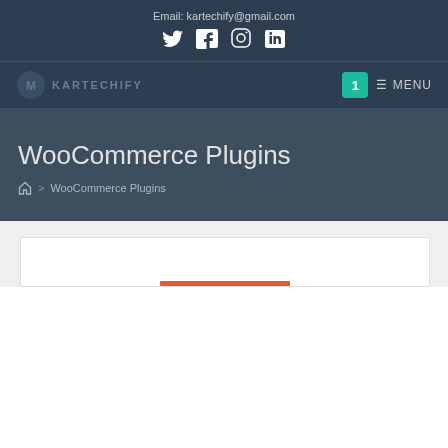Email: kartechify@gmail.com
[Figure (other): Social media icons: Twitter, Facebook, Instagram, LinkedIn]
[Figure (logo): KarTechify logo with icon badge]
1 ☰ MENU
WooCommerce Plugins
🏠 > WooCommerce Plugins